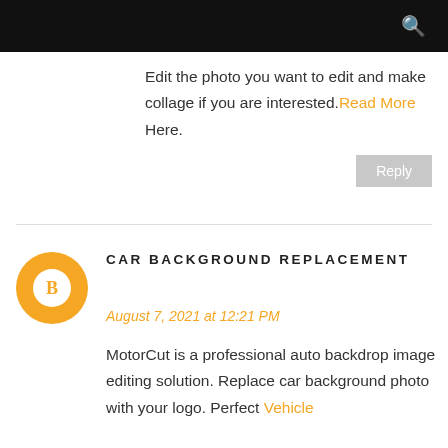[Search icon]
Edit the photo you want to edit and make collage if you are interested.Read More Here.
Reply
[Figure (logo): Orange circular blogger avatar icon with white B letter]
CAR BACKGROUND REPLACEMENT
August 7, 2021 at 12:21 PM
MotorCut is a professional auto backdrop image editing solution. Replace car background photo with your logo. Perfect Vehicle Background Removal for